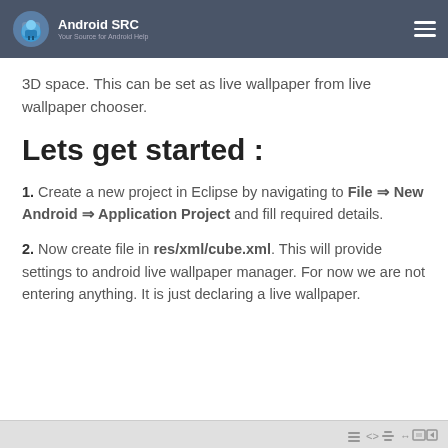Android SRC — Your Source for Android Help
3D space. This can be set as live wallpaper from live wallpaper chooser.
Lets get started :
1. Create a new project in Eclipse by navigating to File ⇒ New Android ⇒ Application Project and fill required details.
2. Now create file in res/xml/cube.xml. This will provide settings to android live wallpaper manager. For now we are not entering anything. It is just declaring a live wallpaper.